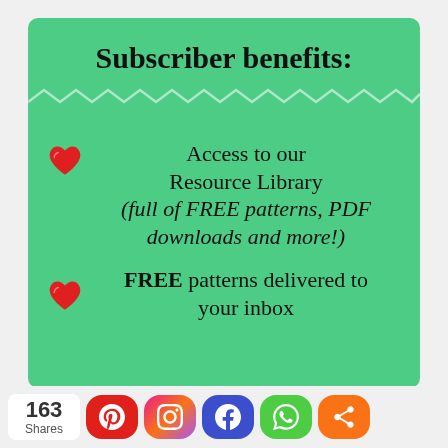Subscriber benefits:
Access to our Resource Library (full of FREE patterns, PDF downloads and more!)
FREE patterns delivered to your inbox
163 Shares